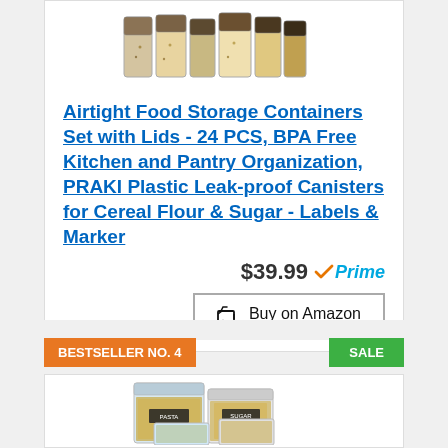[Figure (photo): Product photo of airtight food storage containers set with lids, showing multiple clear canisters with various grains and spices]
Airtight Food Storage Containers Set with Lids - 24 PCS, BPA Free Kitchen and Pantry Organization, PRAKI Plastic Leak-proof Canisters for Cereal Flour & Sugar - Labels & Marker
$39.99 Prime
Buy on Amazon
BESTSELLER NO. 4
SALE
[Figure (photo): Product photo of airtight food storage containers set, showing large clear square containers with labels, containing cereals and grains]